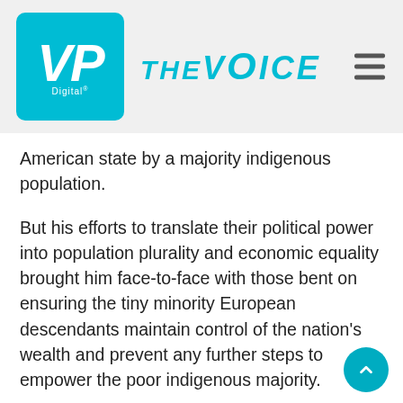VP Digital THE VOICE
American state by a majority indigenous population.
But his efforts to translate their political power into population plurality and economic equality brought him face-to-face with those bent on ensuring the tiny minority European descendants maintain control of the nation's wealth and prevent any further steps to empower the poor indigenous majority.
Indigenous people represent over 60% of Bolivia's population of just over one million, with Mestizos at 30% and Whites at 10% (of which 3%